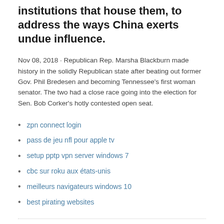institutions that house them, to address the ways China exerts undue influence.
Nov 08, 2018 · Republican Rep. Marsha Blackburn made history in the solidly Republican state after beating out former Gov. Phil Bredesen and becoming Tennessee's first woman senator. The two had a close race going into the election for Sen. Bob Corker's hotly contested open seat.
zpn connect login
pass de jeu nfl pour apple tv
setup pptp vpn server windows 7
cbc sur roku aux états-unis
meilleurs navigateurs windows 10
best pirating websites